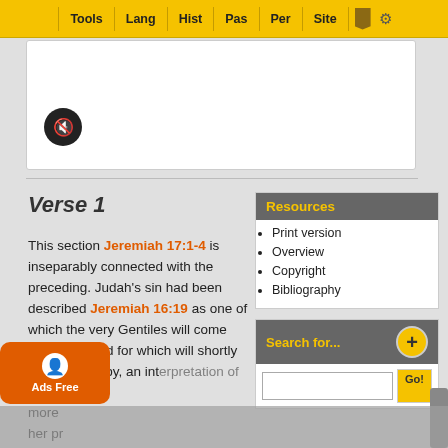Tools | Lang | Hist | Pas | Per | Site
[Figure (screenshot): White content/video box with mute button]
Verse 1
This section Jeremiah 17:1-4 is inseparably connected with the preceding. Judah's sin had been described Jeremiah 16:19 as one of which the very Gentiles will come ashamed. and for which will shortly be punished by, an interpretation of God's hand more her pr
Resources
Print version
Overview
Copyright
Bibliography
Search for...